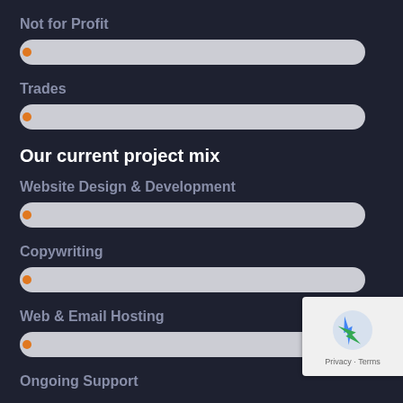Not for Profit
[Figure (infographic): A horizontal progress/bar indicator for Not for Profit category with an orange dot on the left end and a light gray rounded bar]
Trades
[Figure (infographic): A horizontal progress/bar indicator for Trades category with an orange dot on the left end and a light gray rounded bar]
Our current project mix
Website Design & Development
[Figure (infographic): A horizontal progress/bar indicator for Website Design & Development category with an orange dot on the left end and a light gray rounded bar]
Copywriting
[Figure (infographic): A horizontal progress/bar indicator for Copywriting category with an orange dot on the left end and a light gray rounded bar]
Web & Email Hosting
[Figure (infographic): A horizontal progress/bar indicator for Web & Email Hosting category with an orange dot on the left end and a light gray rounded bar]
Ongoing Support
[Figure (logo): Google reCAPTCHA badge with Privacy and Terms links]